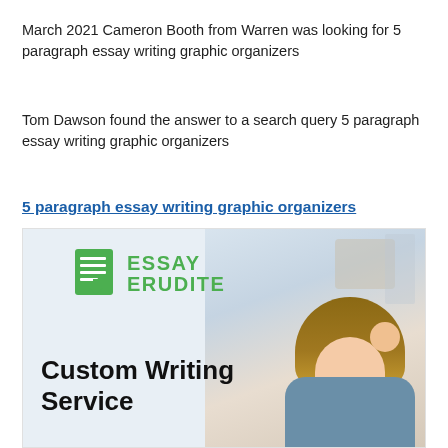March 2021 Cameron Booth from Warren was looking for 5 paragraph essay writing graphic organizers
Tom Dawson found the answer to a search query 5 paragraph essay writing graphic organizers
5 paragraph essay writing graphic organizers
[Figure (illustration): Essay Erudite logo with document icon and green text, and a Custom Writing Service advertisement with a student studying in the background]